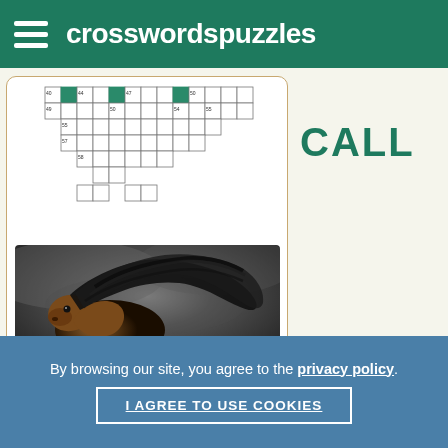crosswordspuzzles
[Figure (other): Partial crossword puzzle grid with numbered cells and green/teal filled black cells]
[Figure (photo): A dramatic photo of a horse with flowing black mane running against a stormy grey background]
CALL
By browsing our site, you agree to the privacy policy.
I AGREE TO USE COOKIES